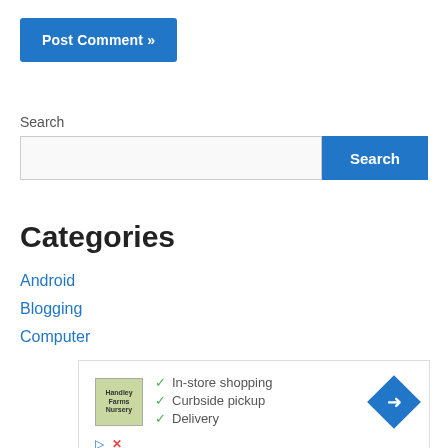[Figure (other): Post Comment button — blue rounded rectangle with white bold text 'Post Comment »']
Search
[Figure (other): Search input field (empty, light grey background) and a blue 'Search' button to its right]
Categories
Android
Blogging
Computer
[Figure (other): Advertisement box showing a store logo thumbnail and checklist: In-store shopping, Curbside pickup, Delivery with a blue direction arrow icon and small play/close icons at bottom left]